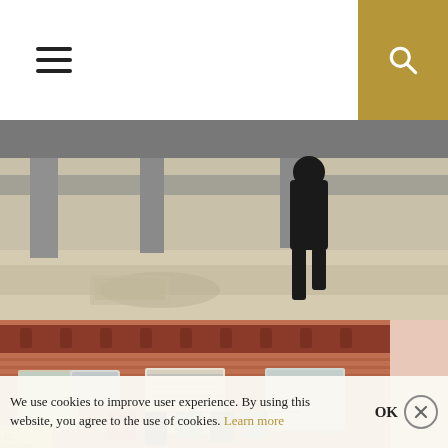[Figure (screenshot): Website navigation bar with hamburger menu icon on the left and a gold/tan search box with magnifying glass icon on the right]
[Figure (photo): Black and white or muted photo of a person walking under a concrete overpass or bridge structure, seen from below]
[Figure (photo): Color photo of a Spanish or European urban residential building facade with red brick, ornate cornice, windows with shutters, an air conditioning unit, and laundry hanging outside]
We use cookies to improve user experience. By using this website, you agree to the use of cookies. Learn more   OK